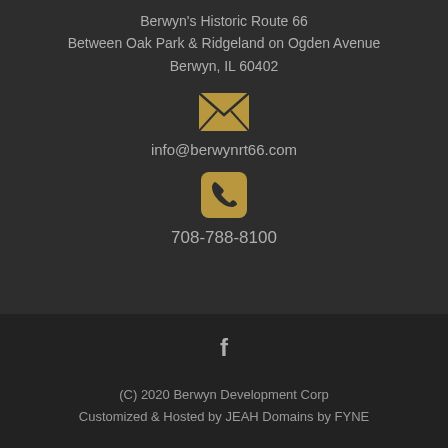Berwyn's Historic Route 66
Between Oak Park & Ridgeland on Ogden Avenue
Berwyn, IL 60402
[Figure (illustration): Gold envelope/email icon]
info@berwynrt66.com
[Figure (illustration): Gold phone icon in rounded square]
708-788-8100
[Figure (illustration): Facebook 'f' icon]
(C) 2020 Berwyn Development Corp
Customized & Hosted by JEAH Domains by FYNE